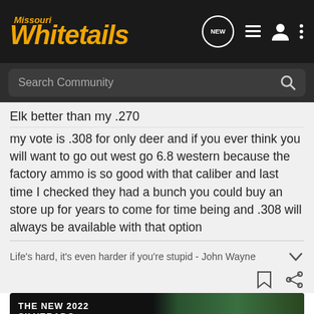Missouri Whitetails
Search Community
Elk better than my .270
my vote is .308 for only deer and if you ever think you will want to go out west go 6.8 western because the factory ammo is so good with that caliber and last time I checked they had a bunch you could buy an store up for years to come for time being and .308 will always be available with that option
Life's hard, it's even harder if you're stupid - John Wayne
[Figure (screenshot): Chevrolet Silverado 2022 advertisement banner showing a dark truck in a field with 'THE NEW 2022 SILVERADO.' text and an Explore button]